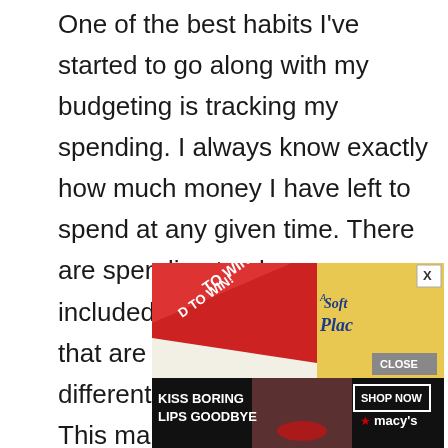One of the best habits I've started to go along with my budgeting is tracking my spending. I always know exactly how much money I have left to spend at any given time. There are spending tracker pages included in the budget binder that are broken down into different customizable sections. This makes it super easy to keep monthly budgeting and expense tracking all in one place.
[Figure (other): Advertisement banner showing a red ribbon with 'TO WIN!' text on the left, a book titled 'Soft Place' on yellow background on the right with a close (X) button, and a bottom black strip showing 'KISS BORING LIPS GOODBYE' with a woman's face, a 'SHOP NOW' button, and Macy's star logo.]